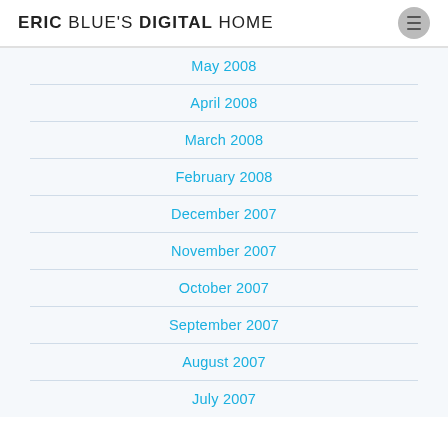ERIC BLUE'S DIGITAL HOME
May 2008
April 2008
March 2008
February 2008
December 2007
November 2007
October 2007
September 2007
August 2007
July 2007